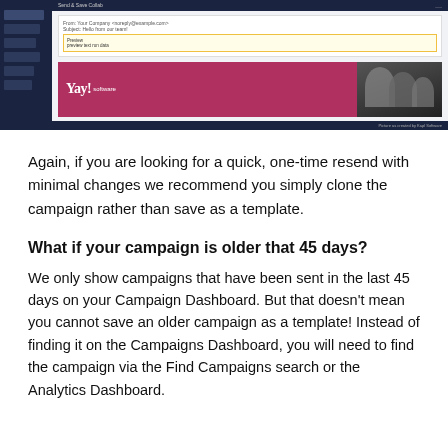[Figure (screenshot): Screenshot of an email campaign editor interface showing a dark sidebar with navigation items, a main content area with an email preview, and a Yay! Software branded email banner with a group of people photo. Caption reads 'Picture as created by Kapl Software'.]
Again, if you are looking for a quick, one-time resend with minimal changes we recommend you simply clone the campaign rather than save as a template.
What if your campaign is older that 45 days?
We only show campaigns that have been sent in the last 45 days on your Campaign Dashboard. But that doesn't mean you cannot save an older campaign as a template! Instead of finding it on the Campaigns Dashboard, you will need to find the campaign via the Find Campaigns search or the Analytics Dashboard.